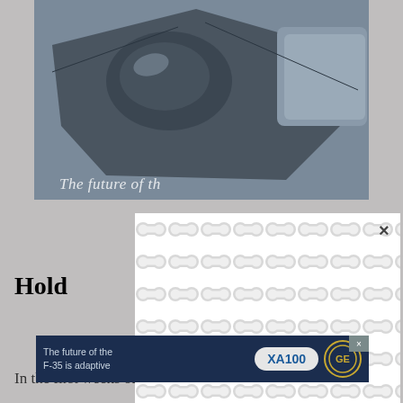[Figure (photo): Fighter jet (F-35) cockpit area viewed from above/front, partial view. 'The future of th...' text overlaid at bottom of image.]
[Figure (screenshot): Advertisement popup overlay with repeating rounded-shape tile pattern on white/light gray background, with X close button in top right corner.]
Hold
[Figure (screenshot): Dark navy advertisement banner reading 'The future of the F-35 is adaptive' with 'XA100' badge and GE logo. Small X close icon in top right.]
In the first weeks of the runoff campaign, the